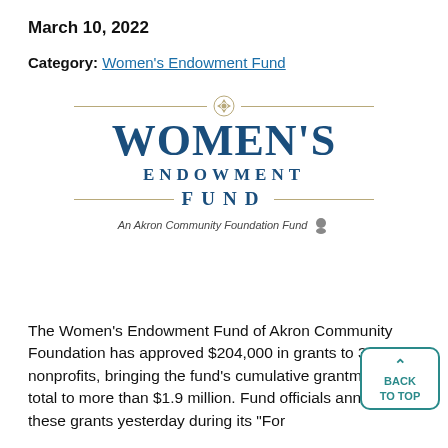March 10, 2022
Category: Women's Endowment Fund
[Figure (logo): Women's Endowment Fund logo — An Akron Community Foundation Fund. Large serif text reading WOMEN'S ENDOWMENT FUND with decorative lines and emblem.]
The Women's Endowment Fund of Akron Community Foundation has approved $204,000 in grants to 34 nonprofits, bringing the fund's cumulative grantmaking total to more than $1.9 million. Fund officials announced these grants yesterday during its "For